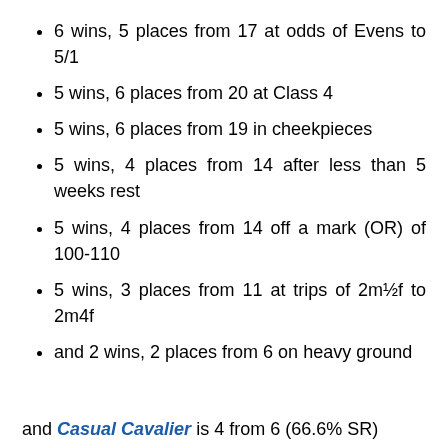6 wins, 5 places from 17 at odds of Evens to 5/1
5 wins, 6 places from 20 at Class 4
5 wins, 6 places from 19 in cheekpieces
5 wins, 4 places from 14 after less than 5 weeks rest
5 wins, 4 places from 14 off a mark (OR) of 100-110
5 wins, 3 places from 11 at trips of 2m½f to 2m4f
and 2 wins, 2 places from 6 on heavy ground
and Casual Cavalier is 4 from 6 (66.6% SR)